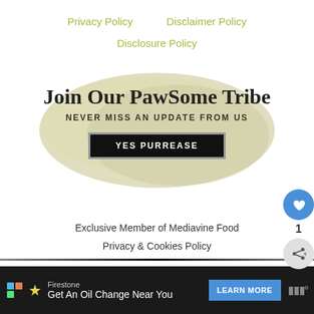Privacy Policy   Disclaimer Policy
Disclosure Policy
[Figure (infographic): Promotional banner with brushstroke background reading 'Join Our Pawsome Tribe - NEVER MISS AN UPDATE FROM US' with a 'YES PURREASE' button]
Exclusive Member of Mediavine Food
Privacy & Cookies Policy
[Figure (infographic): Advertisement bar: Firestone - Get An Oil Change Near You - LEARN MORE button]